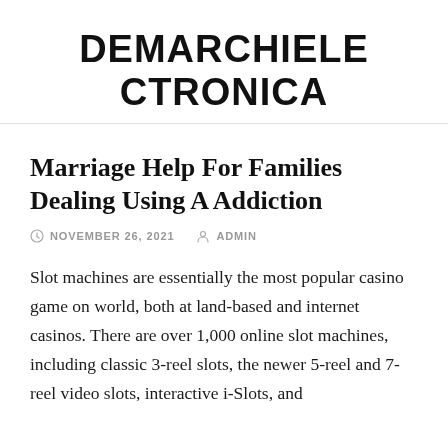DEMARCHIELE CTRONICA
Marriage Help For Families Dealing Using A Addiction
NOVEMBER 26, 2021   ADMIN
Slot machines are essentially the most popular casino game on world, both at land-based and internet casinos. There are over 1,000 online slot machines, including classic 3-reel slots, the newer 5-reel and 7-reel video slots, interactive i-Slots, and